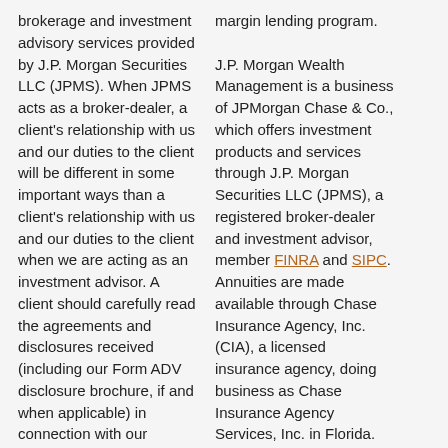brokerage and investment advisory services provided by J.P. Morgan Securities LLC (JPMS). When JPMS acts as a broker-dealer, a client's relationship with us and our duties to the client will be different in some important ways than a client's relationship with us and our duties to the client when we are acting as an investment advisor. A client should carefully read the agreements and disclosures received (including our Form ADV disclosure brochure, if and when applicable) in connection with our provision of services for important information about the capacity in which we will be acting.
margin lending program. J.P. Morgan Wealth Management is a business of JPMorgan Chase & Co., which offers investment products and services through J.P. Morgan Securities LLC (JPMS), a registered broker-dealer and investment advisor, member FINRA and SIPC. Annuities are made available through Chase Insurance Agency, Inc. (CIA), a licensed insurance agency, doing business as Chase Insurance Agency Services, Inc. in Florida. Certain custody and other services are provided by JPMorgan Chase Bank, N.A. (JPMCB). JPMS, CIA and